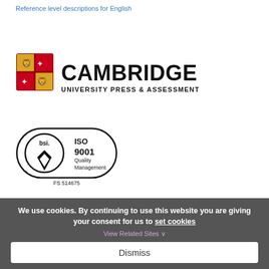Reference level descriptions for English
[Figure (logo): Cambridge University Press & Assessment logo with shield crest and bold text]
[Figure (logo): BSI ISO 9001 Quality Management certification logo, FS 514675]
We use cookies. By continuing to use this website you are giving your consent for us to set cookies
Dismiss